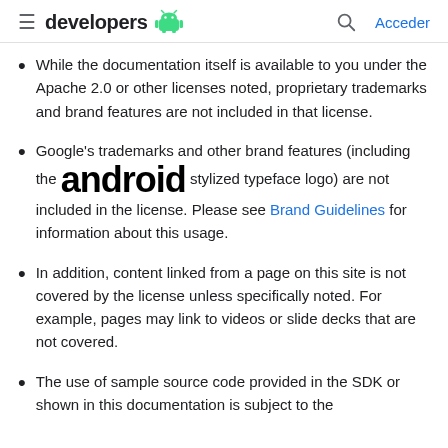≡ developers [android logo] 🔍 Acceder
While the documentation itself is available to you under the Apache 2.0 or other licenses noted, proprietary trademarks and brand features are not included in that license.
Google's trademarks and other brand features (including the android stylized typeface logo) are not included in the license. Please see Brand Guidelines for information about this usage.
In addition, content linked from a page on this site is not covered by the license unless specifically noted. For example, pages may link to videos or slide decks that are not covered.
The use of sample source code provided in the SDK or shown in this documentation is subject to the